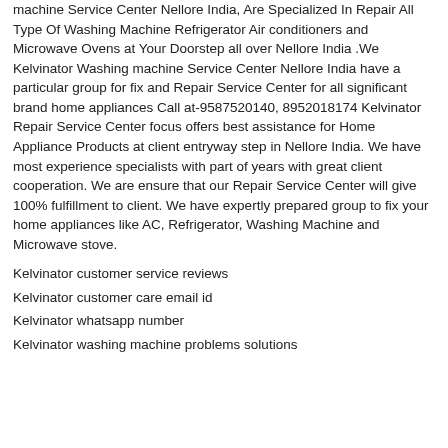machine Service Center Nellore India, Are Specialized In Repair All Type Of Washing Machine Refrigerator Air conditioners and Microwave Ovens at Your Doorstep all over Nellore India .We Kelvinator Washing machine Service Center Nellore India have a particular group for fix and Repair Service Center for all significant brand home appliances Call at-9587520140, 8952018174 Kelvinator Repair Service Center focus offers best assistance for Home Appliance Products at client entryway step in Nellore India. We have most experience specialists with part of years with great client cooperation. We are ensure that our Repair Service Center will give 100% fulfillment to client. We have expertly prepared group to fix your home appliances like AC, Refrigerator, Washing Machine and Microwave stove.
Kelvinator customer service reviews
Kelvinator customer care email id
Kelvinator whatsapp number
Kelvinator washing machine problems solutions